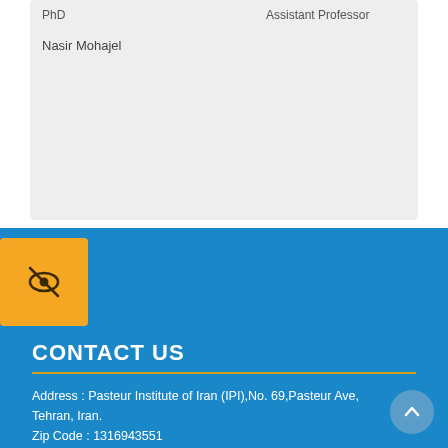| Name | Degree | Title |
| --- | --- | --- |
| Nasir Mohajel | PhD | Assistant Professor |
[Figure (other): Orange square button with an eye/vision icon (crossed-out eye symbol)]
CONTACT US
Address : Pasteur Institute of Iran (IPI),No. 69,Pasteur Ave, Tehran, Iran.
Zip Code : 1316943551